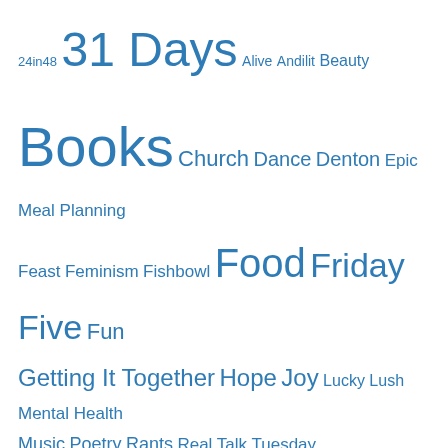[Figure (infographic): Tag cloud with various blog category tags in different sizes, all in blue. Tags include: 24in48, 31 Days, Alive, Andilit, Beauty, Books, Church, Dance, Denton, Epic Meal Planning, Feast, Feminism, Fishbowl, Food, Friday Five, Fun, Getting It Together, Hope, Joy, Lucky, Lush, Mental Health, Music, Poetry, Rants, Real Talk Tuesday, Resolutions, Revolution, Roots, Run, Seasons, Shelfies, Spiderweb, Story Sessions, True, TV, What I'm Into, Wild, Work, Writing]
Goodreads
The Saturday Book
by John Hadfield